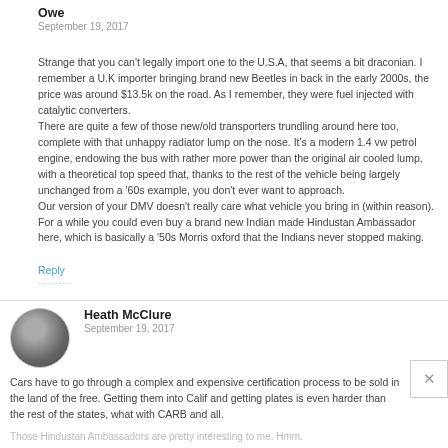Owe
September 19, 2017
Strange that you can't legally import one to the U.S.A, that seems a bit draconian. I remember a U.K importer bringing brand new Beetles in back in the early 2000s, the price was around $13.5k on the road. As I remember, they were fuel injected with catalytic converters. There are quite a few of those new/old transporters trundling around here too, complete with that unhappy radiator lump on the nose. It's a modern 1.4 vw petrol engine, endowing the bus with rather more power than the original air cooled lump, with a theoretical top speed that, thanks to the rest of the vehicle being largely unchanged from a '60s example, you don't ever want to approach. Our version of your DMV doesn't really care what vehicle you bring in (within reason). For a while you could even buy a brand new Indian made Hindustan Ambassador here, which is basically a '50s Morris oxford that the Indians never stopped making.
Reply
Heath McClure
September 19, 2017
Cars have to go through a complex and expensive certification process to be sold in the land of the free. Getting them into Calif and getting plates is even harder than the rest of the states, what with CARB and all.
Those Hindustan Ambassadors are pretty interesting to me. Hmm.